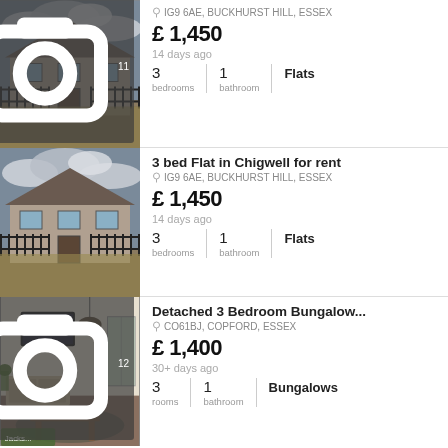[Figure (photo): Exterior photo of a semi-detached house with black iron fence, brick facade, overcast sky]
IG9 6AE, BUCKHURST HILL, ESSEX
£ 1,450
14 days ago
3 bedrooms | 1 bathroom | Flats
3 bed Flat in Chigwell for rent
[Figure (photo): Exterior photo of same semi-detached house with black iron fence, brick facade, overcast sky]
IG9 6AE, BUCKHURST HILL, ESSEX
£ 1,450
14 days ago
3 bedrooms | 1 bathroom | Flats
Detached 3 Bedroom Bungalow...
[Figure (photo): Interior living room with TV mounted on white wall, rustic furniture, plants, warm lighting]
CO61BJ, COPFORD, ESSEX
£ 1,400
30+ days ago
3 rooms | 1 bathroom | Bungalows